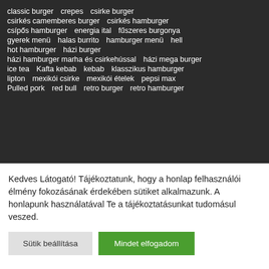classic burger   crepes   csirke burger
csirkés camemberes burger   csirkés hamburger
csípős hamburger   energia ital   fűszeres burgonya
gyerek menü   halas burrito   hamburger menü   hell
hot hamburger   házi burger
házi hamburger marha és csirkehússal   házi mega burger
ice tea   Kafta kebab   kebab   klasszikus hamburger
lipton   mexikói csirke   mexikói ételek   pepsi max
Pulled pork   red bull   retro burger   retro hamburger
Kedves Látogató! Tájékoztatunk, hogy a honlap felhasználói élmény fokozásának érdekében sütiket alkalmazunk. A honlapunk használatával Te a tájékoztatásunkat tudomásul veszed.
Sütik beállítása
Mindet elfogadom